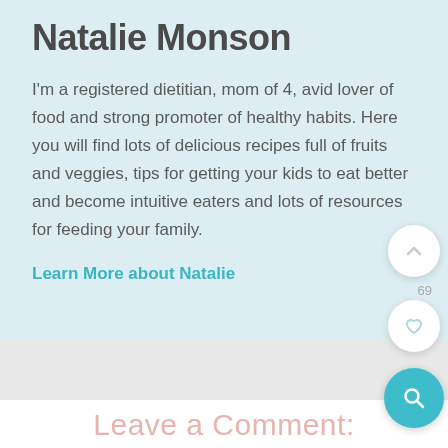Natalie Monson
I'm a registered dietitian, mom of 4, avid lover of food and strong promoter of healthy habits. Here you will find lots of delicious recipes full of fruits and veggies, tips for getting your kids to eat better and become intuitive eaters and lots of resources for feeding your family.
Learn More about Natalie
69
Leave a Comment: